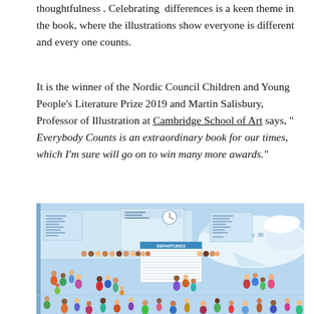thoughtfulness . Celebrating  differences is a keen theme in the book, where the illustrations show everyone is different and every one counts.
It is the winner of the Nordic Council Children and Young People's Literature Prize 2019 and Martin Salisbury, Professor of Illustration at Cambridge School of Art says, " Everybody Counts is an extraordinary book for our times, which I'm sure will go on to win many more awards."
[Figure (illustration): Illustration from the book 'Everybody Counts' showing a busy airport departures scene with a diverse crowd of people of many sizes, ages, and ethnicities, with a departures board visible and an aeroplane in the background.]